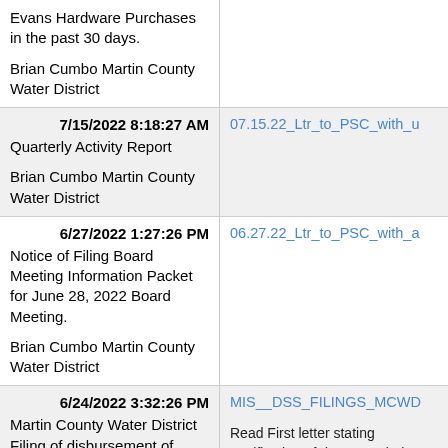Evans Hardware Purchases in the past 30 days.

Brian Cumbo Martin County Water District
7/15/2022 8:18:27 AM
Quarterly Activity Report

Brian Cumbo Martin County Water District
07.15.22_Ltr_to_PSC_with_Qu
6/27/2022 1:27:26 PM
Notice of Filing Board Meeting Information Packet for June 28, 2022 Board Meeting.

Brian Cumbo Martin County Water District
06.27.22_Ltr_to_PSC_with_Bo
6/24/2022 3:32:26 PM
Martin County Water District Filing of disbursement of funds from the Debt Service
MIS__DSS_FILINGS_MCWD
Read First letter stating certification of document being filed and reason for filing with